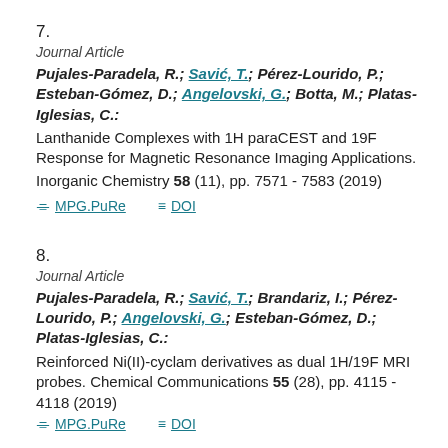7.
Journal Article
Pujales-Paradela, R.; Savić, T.; Pérez-Lourido, P.; Esteban-Gómez, D.; Angelovski, G.; Botta, M.; Platas-Iglesias, C.: Lanthanide Complexes with 1H paraCEST and 19F Response for Magnetic Resonance Imaging Applications. Inorganic Chemistry 58 (11), pp. 7571 - 7583 (2019)
⊙ MPG.PuRe  ≡ DOI
8.
Journal Article
Pujales-Paradela, R.; Savić, T.; Brandariz, I.; Pérez-Lourido, P.; Angelovski, G.; Esteban-Gómez, D.; Platas-Iglesias, C.: Reinforced Ni(II)-cyclam derivatives as dual 1H/19F MRI probes. Chemical Communications 55 (28), pp. 4115 - 4118 (2019)
⊙ MPG.PuRe  ≡ DOI